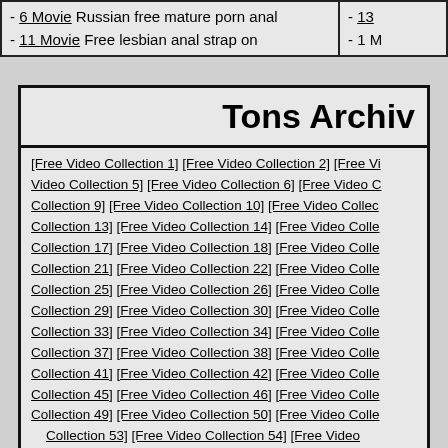- 6 Movie Russian free mature porn anal
- 11 Movie Free lesbian anal strap on
- 13 Movie ... - 1 Movie ...
Tons Archive
[Free Video Collection 1] [Free Video Collection 2] [Free Video Collection 5] [Free Video Collection 6] [Free Video Collection 9] [Free Video Collection 10] [Free Video Collection 13] [Free Video Collection 14] [Free Video Collection 17] [Free Video Collection 18] [Free Video Collection 21] [Free Video Collection 22] [Free Video Collection 25] [Free Video Collection 26] [Free Video Collection 29] [Free Video Collection 30] [Free Video Collection 33] [Free Video Collection 34] [Free Video Collection 37] [Free Video Collection 38] [Free Video Collection 41] [Free Video Collection 42] [Free Video Collection 45] [Free Video Collection 46] [Free Video Collection 49] [Free Video Collection 50] [Free Video Collection 53] [Free Video Collection 54] [Free Video...]